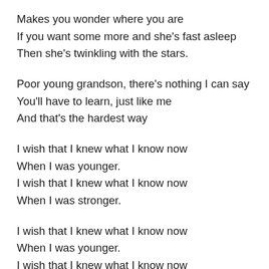Makes you wonder where you are
If you want some more and she's fast asleep
Then she's twinkling with the stars.
Poor young grandson, there's nothing I can say
You'll have to learn, just like me
And that's the hardest way
I wish that I knew what I know now
When I was younger.
I wish that I knew what I know now
When I was stronger.
I wish that I knew what I know now
When I was younger.
I wish that I knew what I know now
When I was stronger.